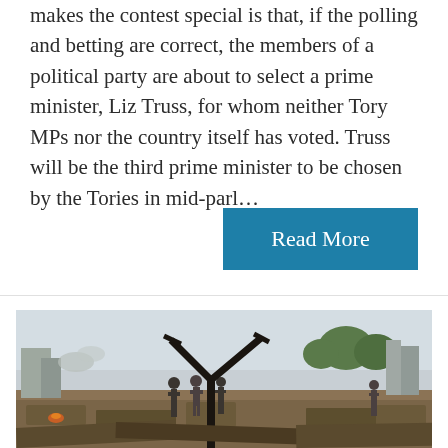makes the contest special is that, if the polling and betting are correct, the members of a political party are about to select a prime minister, Liz Truss, for whom neither Tory MPs nor the country itself has voted. Truss will be the third prime minister to be chosen by the Tories in mid-parl...
Read More
[Figure (photo): Photo of a conflict/disaster scene with people standing amid rubble and debris in an outdoor area with smoke, buildings, and trees visible in the background. A slingshot or Y-shaped metal object is prominent in the foreground.]